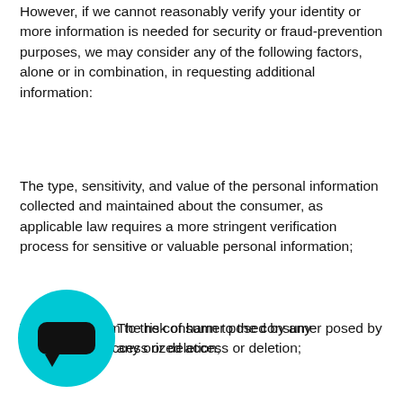However, if we cannot reasonably verify your identity or more information is needed for security or fraud-prevention purposes, we may consider any of the following factors, alone or in combination, in requesting additional information:
The type, sensitivity, and value of the personal information collected and maintained about the consumer, as applicable law requires a more stringent verification process for sensitive or valuable personal information;
The risk of harm to the consumer posed by any unauthorized access or deletion;
[Figure (other): Cyan circular chat/support button with a speech bubble icon overlay]